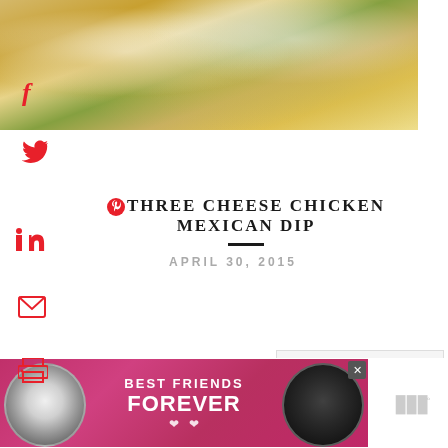[Figure (photo): Close-up photo of Three Cheese Chicken Mexican Dip in a white bowl, showing melted cheese, cilantro garnish, and colorful toppings]
THREE CHEESE CHICKEN MEXICAN DIP
APRIL 30, 2015
[Figure (screenshot): Social sharing sidebar with Twitter, LinkedIn, email, and print icons in red]
[Figure (infographic): Heart/like button showing 25 likes, share button, and What's Next panel showing White Cheese Dip thumbnail]
[Figure (photo): Advertisement banner: Best Friends Forever with cat photos on pink/red background]